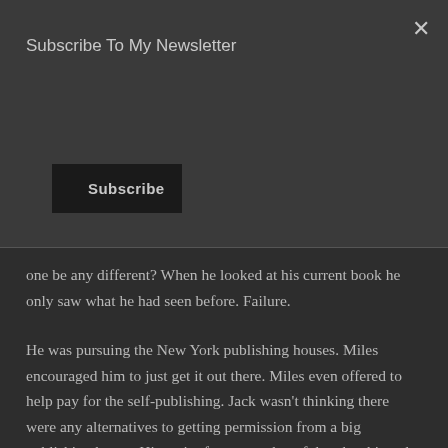Subscribe To My Newsletter
Subscribe
one be any different? When he looked at his current book he only saw what he had seen before. Failure.
He was pursuing the New York publishing houses. Miles encouraged him to just get it out there. Miles even offered to help pay for the self-publishing. Jack wasn't thinking there were any alternatives to getting permission from a big publishing house. His entire future as a hopeful author hinged on some big publisher saying, “Yes.”
He clearly hadn't read Seth Godin's work. We're no longer living in an era where we need permission. Take this podcast.